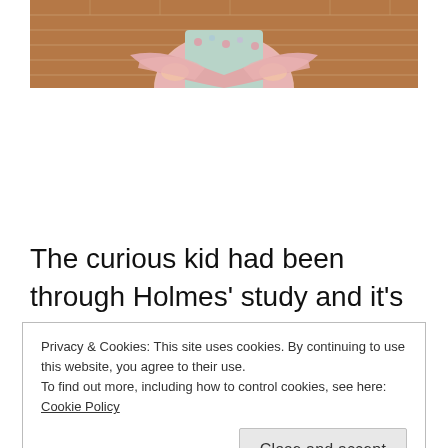[Figure (photo): Photo of a person with arms crossed, wearing a pink cardigan and floral top, standing in front of a brick wall. Only the torso and crossed arms are visible at the top of the page.]
The curious kid had been through Holmes' study and it's clear that he wanted the detective to work again. Through his proding
Privacy & Cookies: This site uses cookies. By continuing to use this website, you agree to their use.
To find out more, including how to control cookies, see here: Cookie Policy

Close and accept
mystery aspect one would expect from a